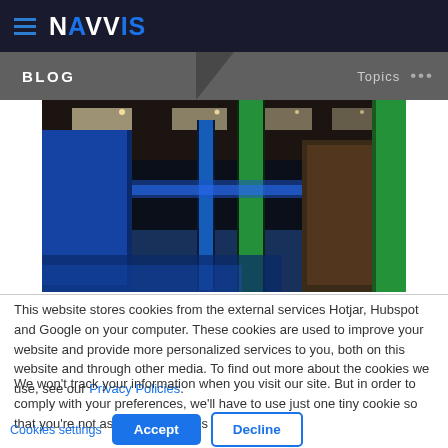NavVis
BLOG   Topics ...
[Figure (photo): Indoor corridor with blue and green glowing columns, modern building interior]
This website stores cookies from the external services Hotjar, Hubspot and Google on your computer. These cookies are used to improve your website and provide more personalized services to you, both on this website and through other media. To find out more about the cookies we use, see our Privacy Policies.
We won't track your information when you visit our site. But in order to comply with your preferences, we'll have to use just one tiny cookie so that you're not asked to make this choice again.
Cookies settings  Accept  Decline